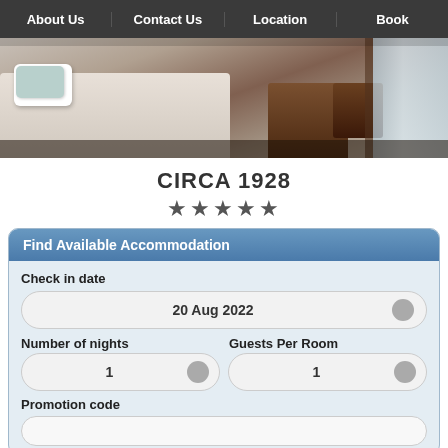About Us | Contact Us | Location | Book
[Figure (photo): Hotel room interior showing a white bed with pillows, wooden furniture, and window with blinds]
CIRCA 1928
★★★★★
Find Available Accommodation
Check in date
20 Aug 2022
Number of nights
Guests Per Room
1
1
Promotion code